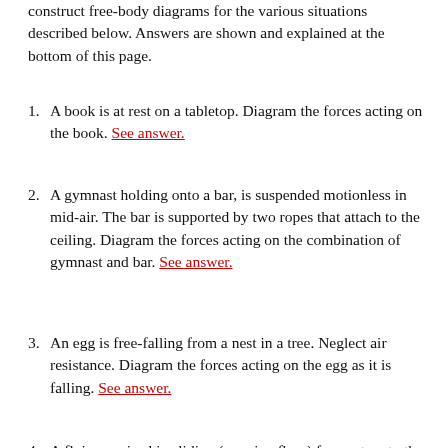construct free-body diagrams for the various situations described below. Answers are shown and explained at the bottom of this page.
A book is at rest on a tabletop. Diagram the forces acting on the book. See answer.
A gymnast holding onto a bar, is suspended motionless in mid-air. The bar is supported by two ropes that attach to the ceiling. Diagram the forces acting on the combination of gymnast and bar. See answer.
An egg is free-falling from a nest in a tree. Neglect air resistance. Diagram the forces acting on the egg as it is falling. See answer.
A flying squirrel is gliding (no wing flaps) from a tree to the ground at constant velocity. Consider air resistance. Diagram the forces acting on the squirrel. See answer.
A ...